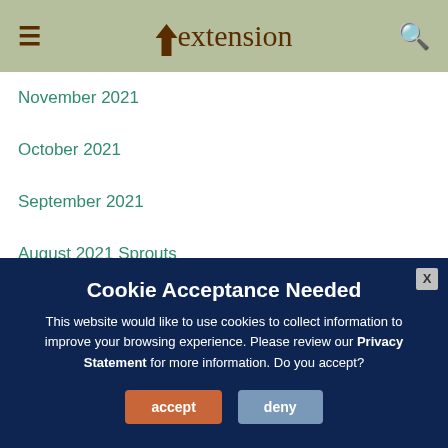Extension
November 2021
October 2021
September 2021
August 2021 Sprouts
July 2021
June 2021 (partial)
Cookie Acceptance Needed

This website would like to use cookies to collect information to improve your browsing experience. Please review our Privacy Statement for more information. Do you accept?
accept | deny